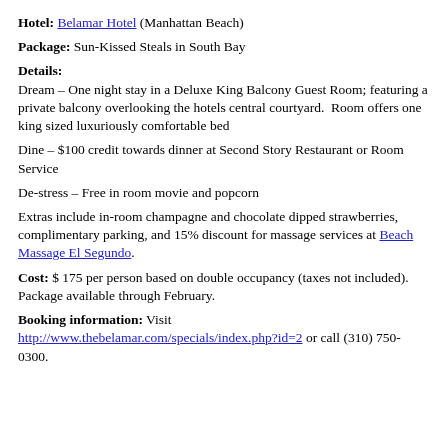Hotel: Belamar Hotel (Manhattan Beach)
Package: Sun-Kissed Steals in South Bay
Details:
Dream – One night stay in a Deluxe King Balcony Guest Room; featuring a private balcony overlooking the hotels central courtyard.  Room offers one king sized luxuriously comfortable bed
Dine – $100 credit towards dinner at Second Story Restaurant or Room Service
De-stress – Free in room movie and popcorn
Extras include in-room champagne and chocolate dipped strawberries, complimentary parking, and 15% discount for massage services at Beach Massage El Segundo.
Cost: $ 175 per person based on double occupancy (taxes not included). Package available through February.
Booking information: Visit http://www.thebelamar.com/specials/index.php?id=2 or call (310) 750-0300.